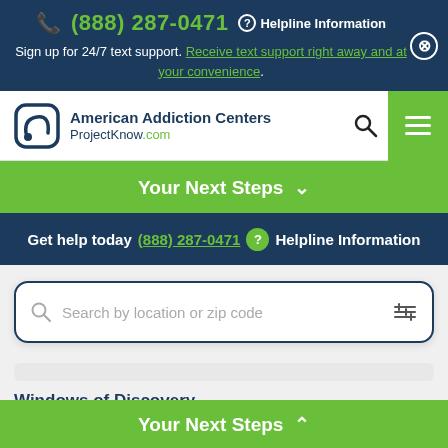(888) 287-0471 ? Helpline Information
Sign up for 24/7 text support. Receive text support right away and at your convenience.
[Figure (screenshot): American Addiction Centers / ProjectKnow.com navigation logo with speech bubble icon]
Your Next Steps ∨
Get help today (888) 287-0471 ? Helpline Information
Search by location or zip code
Windows of Discovery
Your Next Steps ∧